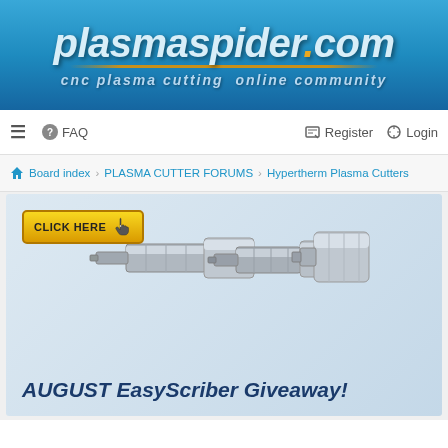plasmaspider.com — cnc plasma cutting online community
≡  ? FAQ    Register  Login
Board index › PLASMA CUTTER FORUMS › Hypertherm Plasma Cutters
[Figure (screenshot): AUGUST EasyScriber Giveaway advertisement banner featuring metal scriber nozzle parts and a yellow CLICK HERE button]